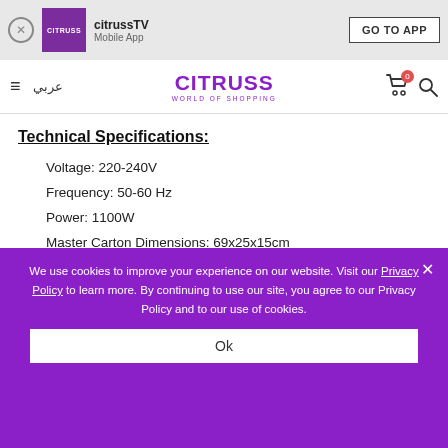citrussTV Mobile App | GO TO APP
CITRUSS WORLD OF SHOPPING
Technical Specifications:
Voltage: 220-240V
Frequency: 50-60 Hz
Power: 1100W
Master Carton Dimensions: 69x25x15cm
We use cookies to improve your experience on our website. Visit our Privacy Policy to learn more. By continuing to use our site, you agree to our Privacy Policy and to our use of cookies.
Ok